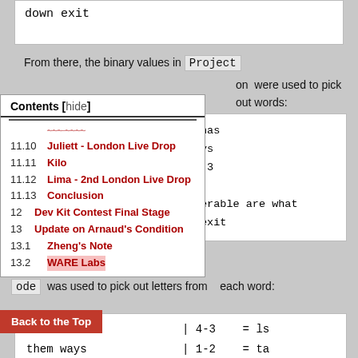down exit
From there, the binary values in Project on were used to pick out words:
Contents [hide]
11.10 Juliett - London Live Drop
11.11 Kilo
11.12 Lima - 2nd London Live Drop
11.13 Conclusion
12 Dev Kit Contest Final Stage
13 Update on Arnaud's Condition
13.1 Zheng's Note
13.2 WARE Labs
- called has
- them ways
- 7 speak 3
- dead
- unrecoverable are what
- should exit
ode was used to pick out letters from each word:
called has    | 4-3    = ls
them ways     | 1-2    = ta